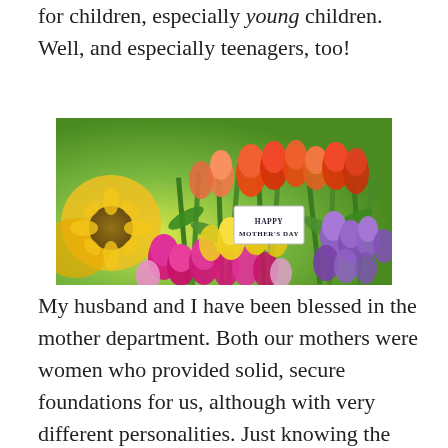for children, especially young children. Well, and especially teenagers, too!
[Figure (photo): A colorful bouquet of tulips in red, orange, yellow, pink, and purple colors with green leaves. A small white card in the center reads 'Happy Mother's Day' in dark text.]
My husband and I have been blessed in the mother department. Both our mothers were women who provided solid, secure foundations for us, although with very different personalities. Just knowing the two of them went